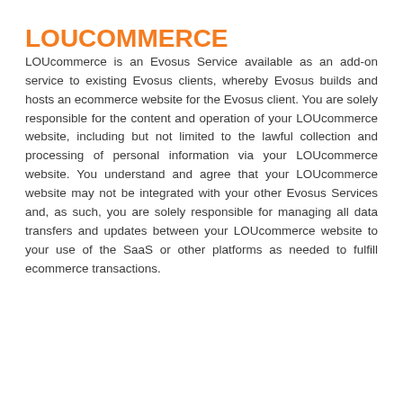LOUCOMMERCE
LOUcommerce is an Evosus Service available as an add-on service to existing Evosus clients, whereby Evosus builds and hosts an ecommerce website for the Evosus client. You are solely responsible for the content and operation of your LOUcommerce website, including but not limited to the lawful collection and processing of personal information via your LOUcommerce website. You understand and agree that your LOUcommerce website may not be integrated with your other Evosus Services and, as such, you are solely responsible for managing all data transfers and updates between your LOUcommerce website to your use of the SaaS or other platforms as needed to fulfill ecommerce transactions.